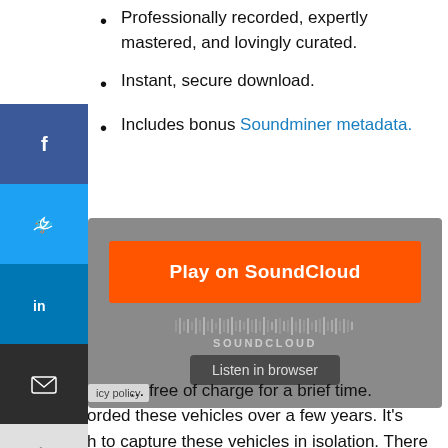Professionally recorded, expertly mastered, and lovingly curated.
Instant, secure download.
Includes bonus Soundminer metadata.
[Figure (screenshot): SoundCloud embedded player with orange 'Play on SoundCloud' button, waveform graphic with SOUNDCLOUD label, and 'Listen in browser' button on grey background. Social share sidebar visible on left with Facebook, Twitter, LinkedIn, Email, and More buttons.]
... free of charge for a brief time.
I recorded these vehicles over a few years. It's tough to capture these vehicles in isolation. There are always dozens of other machines intruding on recordings, as well as construction site ambience. These are field recordings where I managed to find a variety of